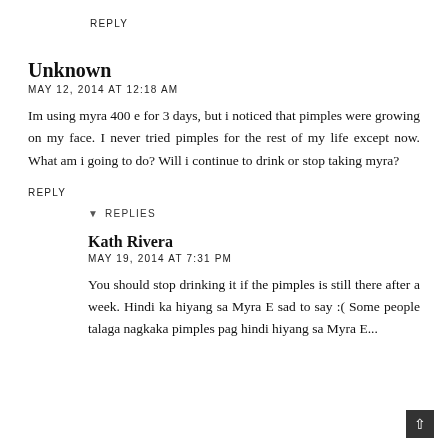REPLY
Unknown
MAY 12, 2014 AT 12:18 AM
Im using myra 400 e for 3 days, but i noticed that pimples were growing on my face. I never tried pimples for the rest of my life except now. What am i going to do? Will i continue to drink or stop taking myra?
REPLY
▾ REPLIES
Kath Rivera
MAY 19, 2014 AT 7:31 PM
You should stop drinking it if the pimples is still there after a week. Hindi ka hiyang sa Myra E sad to say :( Some people talaga nagkaka pimples pag hindi hiyang sa Myra E...